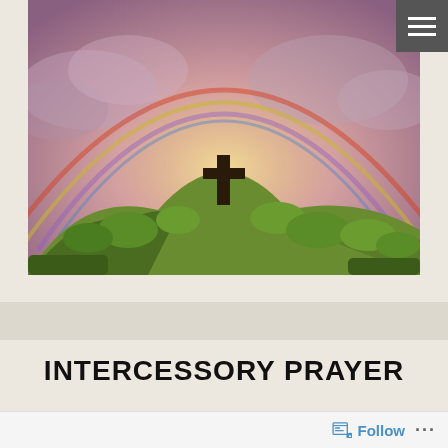[Figure (photo): A large rainbow arching over a green hill with a dark wooden cross at the top, dramatic sky with purple and golden hues]
INTERCESSORY PRAYER
Partial teaser text visible at bottom of page
Follow ...